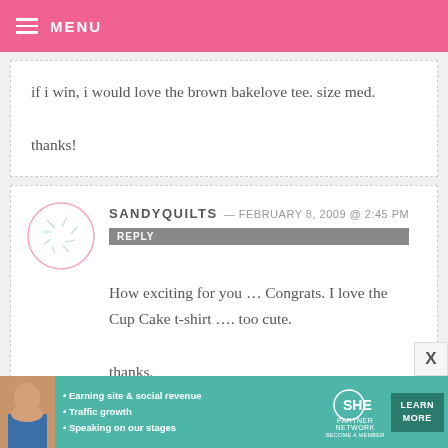MENU
if i win, i would love the brown bakelove tee. size med.

thanks!
SANDYQUILTS — FEBRUARY 8, 2009 @ 2:45 PM
REPLY

How exciting for you … Congrats. I love the Cup Cake t-shirt …. too cute.

thanks.
[Figure (infographic): SHE Partner Network advertisement banner with woman photo, bullet points: Earning site & social revenue, Traffic growth, Speaking on our stages. LEARN MORE button.]